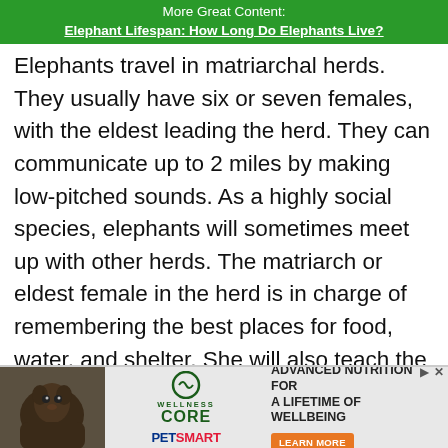More Great Content:
Elephant Lifespan: How Long Do Elephants Live?
Elephants travel in matriarchal herds. They usually have six or seven females, with the eldest leading the herd. They can communicate up to 2 miles by making low-pitched sounds. As a highly social species, elephants will sometimes meet up with other herds. The matriarch or eldest female in the herd is in charge of remembering the best places for food, water, and shelter. She will also teach the younger elephants in the herd how to socialize.
[Figure (infographic): Advertisement banner for Wellness Core pet food at PetSmart — includes photo of animal, Wellness Core logo, PetSmart logo, text reading 'ADVANCED NUTRITION FOR A LIFETIME OF WELLBEING' with a Learn More button]